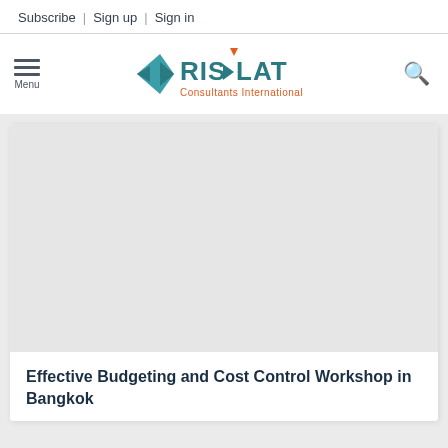Subscribe | Sign up | Sign in
[Figure (logo): RISLAT Consultants International logo with teal diamond shape and orange triangle accent]
Effective Budgeting and Cost Control Workshop in Bangkok